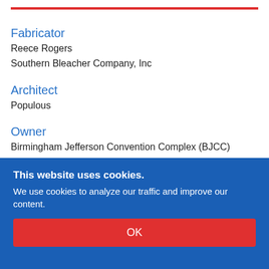Fabricator
Reece Rogers
Southern Bleacher Company, Inc
Architect
Populous
Owner
Birmingham Jefferson Convention Complex (BJCC)
Other
General Contractor: Brasfield and Gorrie
This website uses cookies.
We use cookies to analyze our traffic and improve our content.
OK